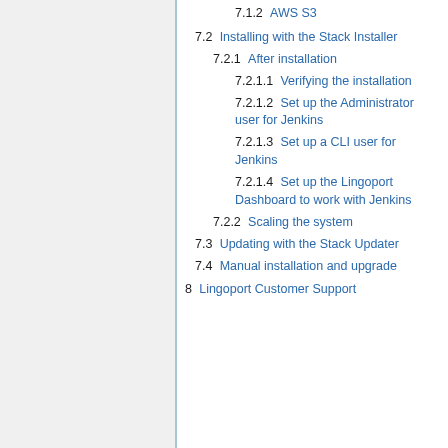7.1.2 AWS S3
7.2 Installing with the Stack Installer
7.2.1 After installation
7.2.1.1 Verifying the installation
7.2.1.2 Set up the Administrator user for Jenkins
7.2.1.3 Set up a CLI user for Jenkins
7.2.1.4 Set up the Lingoport Dashboard to work with Jenkins
7.2.2 Scaling the system
7.3 Updating with the Stack Updater
7.4 Manual installation and upgrade
8 Lingoport Customer Support